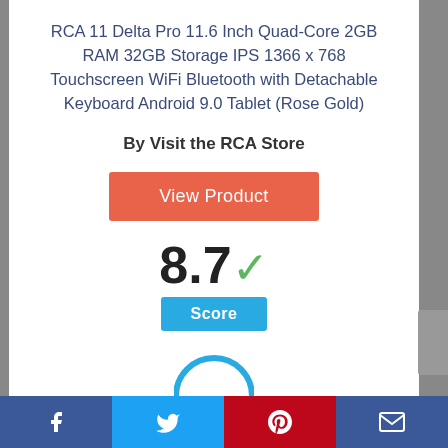RCA 11 Delta Pro 11.6 Inch Quad-Core 2GB RAM 32GB Storage IPS 1366 x 768 Touchscreen WiFi Bluetooth with Detachable Keyboard Android 9.0 Tablet (Rose Gold)
By Visit the RCA Store
[Figure (other): Orange 'View Product' button]
8.7 ✓
Score
[Figure (other): Partial blue circle at bottom of content area]
Facebook | Twitter | Pinterest | Email social sharing bar